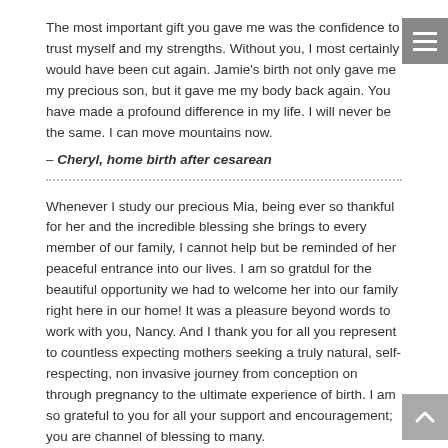The most important gift you gave me was the confidence to trust myself and my strengths. Without you, I most certainly would have been cut again. Jamie's birth not only gave me my precious son, but it gave me my body back again. You have made a profound difference in my life. I will never be the same. I can move mountains now.
– Cheryl, home birth after cesarean
Whenever I study our precious Mia, being ever so thankful for her and the incredible blessing she brings to every member of our family, I cannot help but be reminded of her peaceful entrance into our lives. I am so gratdul for the beautiful opportunity we had to welcome her into our family right here in our home! It was a pleasure beyond words to work with you, Nancy. And I thank you for all you represent to countless expecting mothers seeking a truly natural, self-respecting, non invasive journey from conception on through pregnancy to the ultimate experience of birth. I am so grateful to you for all your support and encouragement; you are channel of blessing to many.
– Wendy